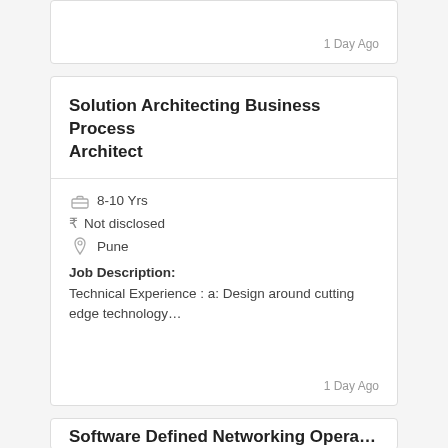1 Day Ago
Solution Architecting Business Process Architect
8-10 Yrs
Not disclosed
Pune
Job Description:
Technical Experience : a: Design around cutting edge technology…
1 Day Ago
Software Defined Networking Operations...